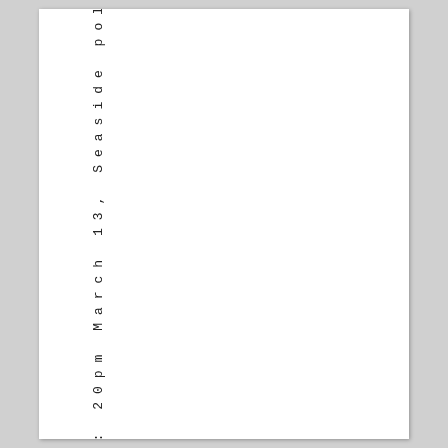d1: 20pm March 13, Seaside pol